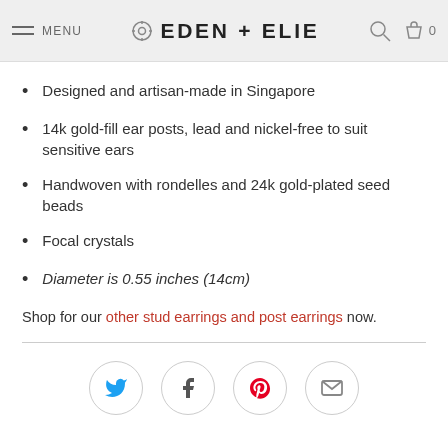MENU  EDEN + ELIE  0
Designed and artisan-made in Singapore
14k gold-fill ear posts, lead and nickel-free to suit sensitive ears
Handwoven with rondelles and 24k gold-plated seed beads
Focal crystals
Diameter is 0.55 inches (14cm)
Shop for our other stud earrings and post earrings now.
[Figure (other): Social sharing icons: Twitter (blue bird), Facebook (f), Pinterest (red P), Email (envelope) — each inside a circular border]